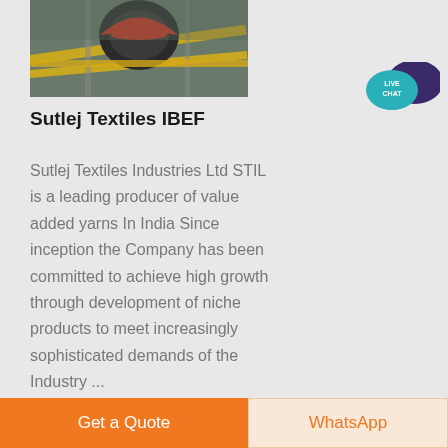[Figure (photo): Industrial machinery photo showing heavy equipment with yellow railings and red/orange mechanical components]
[Figure (illustration): Live Chat button with teal speech bubble and dark purple chat bubble icon]
Sutlej Textiles IBEF
Sutlej Textiles Industries Ltd STIL is a leading producer of value added yarns In India Since inception the Company has been committed to achieve high growth through development of niche products to meet increasingly sophisticated demands of the Industry ...
Get a Quote
WhatsApp